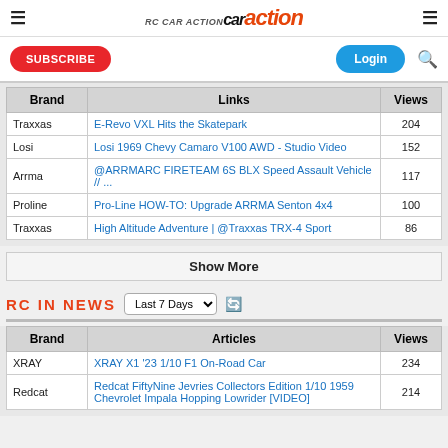RC Car Action
| Brand | Links | Views |
| --- | --- | --- |
| Traxxas | E-Revo VXL Hits the Skatepark | 204 |
| Losi | Losi 1969 Chevy Camaro V100 AWD - Studio Video | 152 |
| Arrma | @ARRMARC FIRETEAM 6S BLX Speed Assault Vehicle // ... | 117 |
| Proline | Pro-Line HOW-TO: Upgrade ARRMA Senton 4x4 | 100 |
| Traxxas | High Altitude Adventure | @Traxxas TRX-4 Sport | 86 |
Show More
RC IN NEWS
| Brand | Articles | Views |
| --- | --- | --- |
| XRAY | XRAY X1 '23 1/10 F1 On-Road Car | 234 |
| Redcat | Redcat FiftyNine Jevries Collectors Edition 1/10 1959 Chevrolet Impala Hopping Lowrider [VIDEO] | 214 |